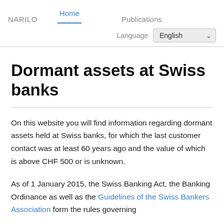NARILO   Home   Publications
Language   English
Dormant assets at Swiss banks
On this website you will find information regarding dormant assets held at Swiss banks, for which the last customer contact was at least 60 years ago and the value of which is above CHF 500 or is unknown.
As of 1 January 2015, the Swiss Banking Act, the Banking Ordinance as well as the Guidelines of the Swiss Bankers Association form the rules governing...